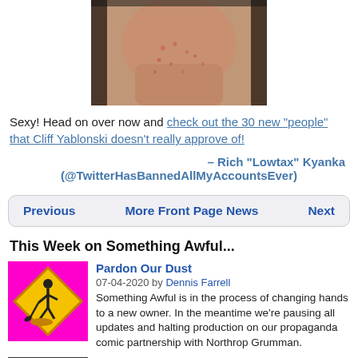[Figure (photo): Close-up photo of a person's face/chin with acne/skin condition, cropped at top]
Sexy! Head on over now and check out the 30 new "people" that Cliff Yablonski doesn't really approve of!
– Rich "Lowtax" Kyanka (@TwitterHasBannedAllMyAccountsEver)
Previous   More Front Page News   Next
This Week on Something Awful...
[Figure (illustration): Pink background with yellow diamond construction worker sign]
Pardon Our Dust
07-04-2020 by Dennis Farrell
Something Awful is in the process of changing hands to a new owner. In the meantime we're pausing all updates and halting production on our propaganda comic partnership with Northrop Grumman.
[Figure (photo): Partial thumbnail image, dark/diagonal, partially visible]
DEAR FURRIES: WE WERE WRONG
06-29-2020 by Rhin Kalifa